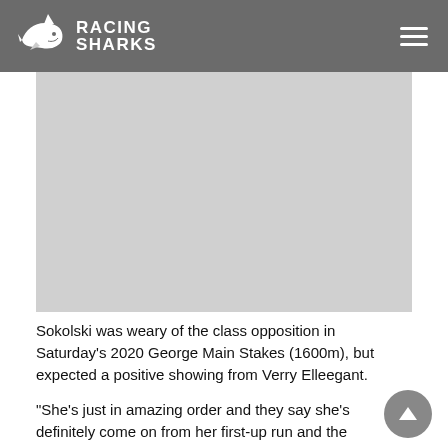Racing Sharks
[Figure (other): Advertisement or image placeholder area (gray rectangle)]
Sokolski was weary of the class opposition in Saturday's 2020 George Main Stakes (1600m), but expected a positive showing from Verry Elleegant.
“She’s just in amazing order and they say she’s definitely come on from her first-up run and the most